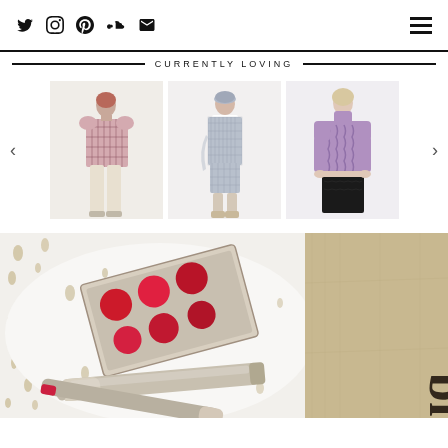Social media icons: Twitter, Instagram, Pinterest, SoundCloud, Email | Hamburger menu
CURRENTLY LOVING
[Figure (photo): Fashion carousel showing three models: left - model in plaid blazer and cream wide-leg trousers; center - model in grey gingham vest and shorts with headband; right - model in lavender purple cable-knit turtleneck vest with black skirt. Navigation arrows on left and right sides.]
[Figure (photo): Flatlay beauty photo showing a makeup palette with red/pink circular pans, a lip gloss tube, and a beige fabric pouch or bag with text visible on it, on a white surface with dot pattern.]